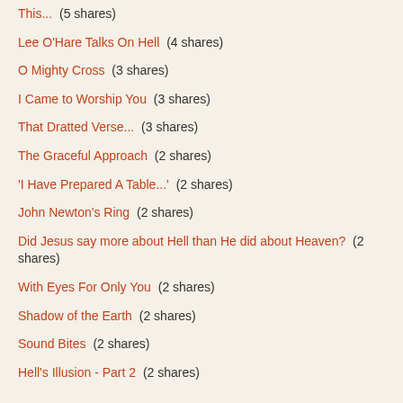This...  (5 shares)
Lee O'Hare Talks On Hell  (4 shares)
O Mighty Cross  (3 shares)
I Came to Worship You  (3 shares)
That Dratted Verse...  (3 shares)
The Graceful Approach  (2 shares)
'I Have Prepared A Table...'  (2 shares)
John Newton's Ring  (2 shares)
Did Jesus say more about Hell than He did about Heaven?  (2 shares)
With Eyes For Only You  (2 shares)
Shadow of the Earth  (2 shares)
Sound Bites  (2 shares)
Hell's Illusion - Part 2  (2 shares)